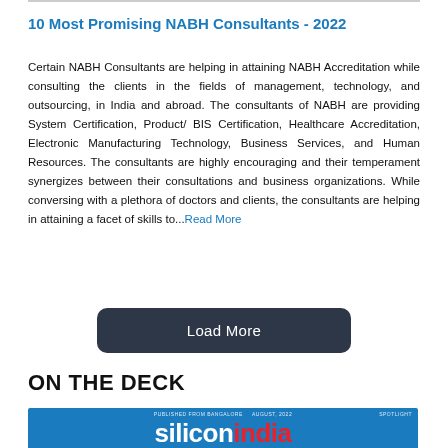10 Most Promising NABH Consultants - 2022
Certain NABH Consultants are helping in attaining NABH Accreditation while consulting the clients in the fields of management, technology, and outsourcing, in India and abroad. The consultants of NABH are providing System Certification, Product/ BIS Certification, Healthcare Accreditation, Electronic Manufacturing Technology, Business Services, and Human Resources. The consultants are highly encouraging and their temperament synergizes between their consultations and business organizations. While conversing with a plethora of doctors and clients, the consultants are helping in attaining a facet of skills to...Read More
[Figure (other): Load More button — dark rounded rectangle with white text 'Load More']
ON THE DECK
[Figure (other): Silicon India magazine cover with blue background, white text 'silicon' and red text 'india', small metadata text at top center and 'SPOTLIGHT' at top right]